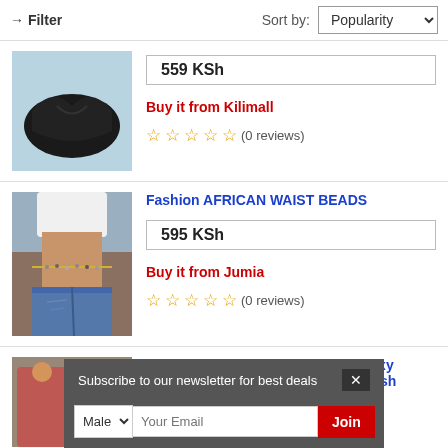→ Filter | Sort by: Popularity
[Figure (photo): Black underwear product image on light blue background]
559 KSh
Buy it from Kilimall
(0 reviews)
[Figure (photo): Fashion African Waist Beads product photo - woman wearing waist beads with denim shorts]
Fashion AFRICAN WAIST BEADS
595 KSh
Buy it from Jumia
(0 reviews)
European & American Fashiona Sexy Women Underwear Transparent Mesh
[Figure (photo): European & American Fashiona Sexy Women Underwear Transparent Mesh product photo]
Subscribe to our newsletter for best deals
Male | Your Email | Join